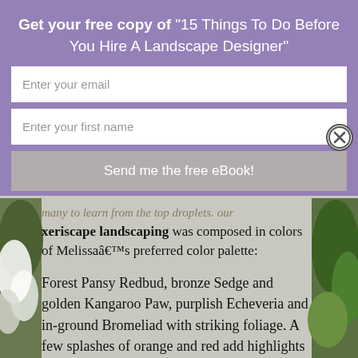Get your free copy of "15 Things To Do Before You Hire A Landscape Designer"
Enter your email
Enter your first name
Send me the free eBook!
xeriscape landscaping was composed in colors of Melissaâ€™s preferred color palette:
Forest Pansy Redbud, bronze Sedge and golden Kangaroo Paw, purplish Echeveria and in-ground Bromeliad with striking foliage. A few splashes of orange and red add highlights to the picture.